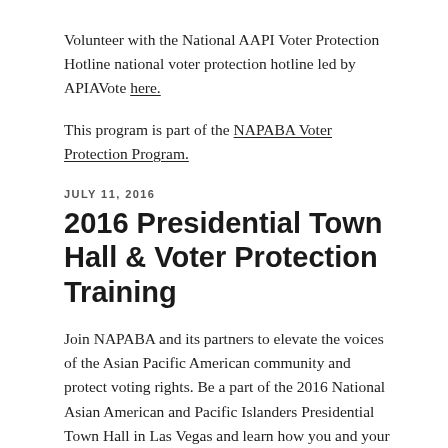Volunteer with the National AAPI Voter Protection Hotline national voter protection hotline led by APIAVote here.
This program is part of the NAPABA Voter Protection Program.
JULY 11, 2016
2016 Presidential Town Hall & Voter Protection Training
Join NAPABA and its partners to elevate the voices of the Asian Pacific American community and protect voting rights. Be a part of the 2016 National Asian American and Pacific Islanders Presidential Town Hall in Las Vegas and learn how you and your affiliate can host voter protection trainings and monitor elections.